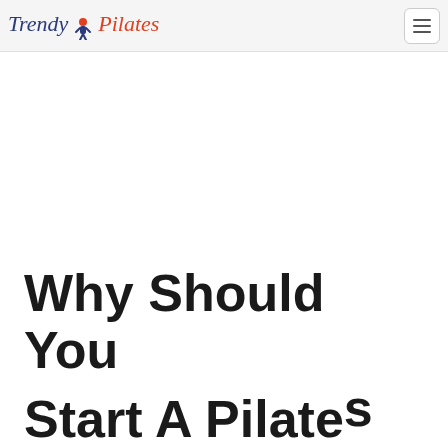Trendy Pilates
Why Should You Start A Pilates...